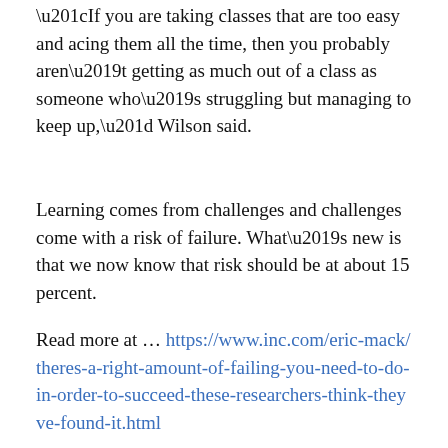“If you are taking classes that are too easy and acing them all the time, then you probably aren’t getting as much out of a class as someone who’s struggling but managing to keep up,” Wilson said.
Learning comes from challenges and challenges come with a risk of failure. What’s new is that we now know that risk should be at about 15 percent.
Read more at … https://www.inc.com/eric-mack/theres-a-right-amount-of-failing-you-need-to-do-in-order-to-succeed-these-researchers-think-theyve-found-it.html
November 7, 2019
FAILURE & Researchers find